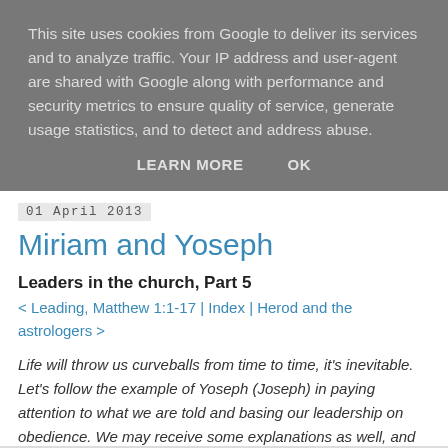This site uses cookies from Google to deliver its services and to analyze traffic. Your IP address and user-agent are shared with Google along with performance and security metrics to ensure quality of service, generate usage statistics, and to detect and address abuse.
LEARN MORE    OK
01 April 2013
Miriam and Yoseph
Leaders in the church, Part 5
< Leading, Matthew 1:1-17 | Index | Herod and the astrologers >
Life will throw us curveballs from time to time, it's inevitable. Let's follow the example of Yoseph (Joseph) in paying attention to what we are told and basing our leadership on obedience. We may receive some explanations as well, and they can give us great confidence as we step out to lead.